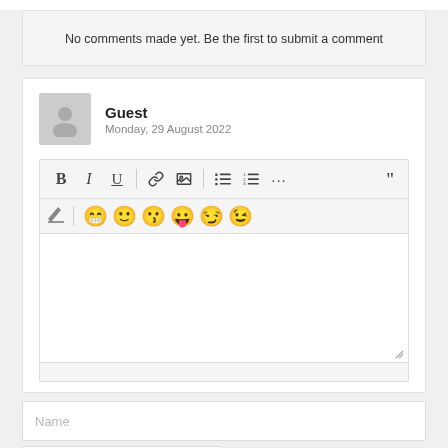No comments made yet. Be the first to submit a comment
[Figure (screenshot): Comment submission form with guest avatar, username 'Guest', date 'Monday, 29 August 2022', rich text editor toolbar with bold/italic/underline/link/image/list buttons, emoji bar, text area, and Name/E-mail input fields]